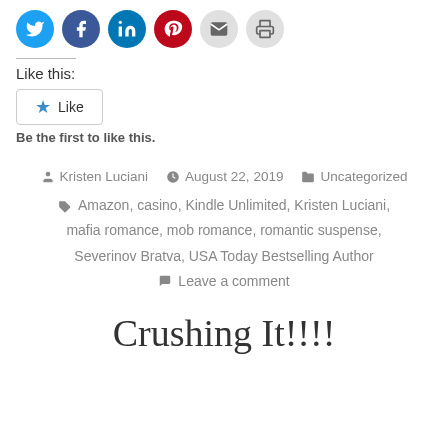[Figure (infographic): Row of social sharing icon circles: Twitter (blue), Facebook (blue), LinkedIn (blue), Pinterest (red), Email (gray), Print (gray)]
Like this:
[Figure (other): Like button widget with star icon and text 'Like']
Be the first to like this.
By Kristen Luciani  August 22, 2019  Uncategorized
Amazon, casino, Kindle Unlimited, Kristen Luciani, mafia romance, mob romance, romantic suspense, Severinov Bratva, USA Today Bestselling Author
Leave a comment
Crushing It!!!!